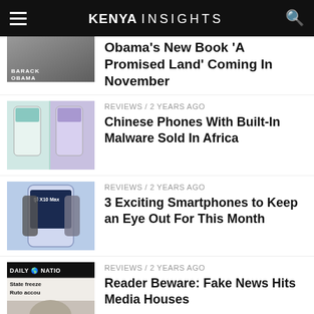KENYA INSIGHTS
Obama's New Book 'A Promised Land' Coming In November
REVIEWS / 2 years ago
Chinese Phones With Built-In Malware Sold In Africa
REVIEWS / 2 years ago
3 Exciting Smartphones to Keep an Eye Out For This Month
REVIEWS / 2 years ago
Reader Beware: Fake News Hits Media Houses
REVIEWS / 2 years ago
For Apple Products In Kenya, Harlem Technologies Is The Authorized And